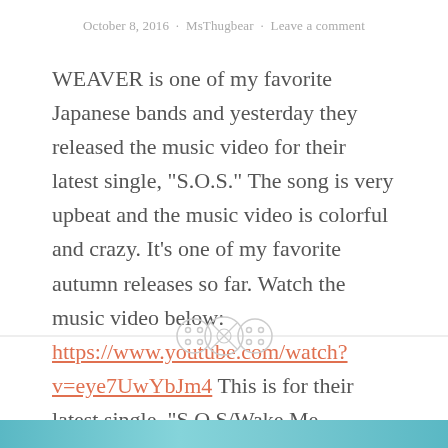October 8, 2016 · MsThugbear · Leave a comment
WEAVER is one of my favorite Japanese bands and yesterday they released the music video for their latest single, "S.O.S." The song is very upbeat and the music video is colorful and crazy. It's one of my favorite autumn releases so far. Watch the music video below: https://www.youtube.com/watch?v=eye7UwYbJm4 This is for their latest single, "S.O.S/Wake Me...
Continue reading
[Figure (illustration): Decorative section divider with three button icons centered on a horizontal line]